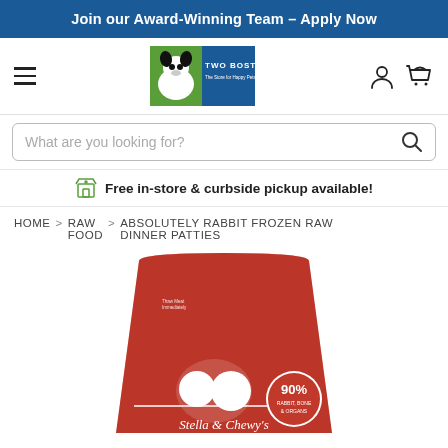Join our Award-Winning Team – Apply Now
[Figure (logo): Two Bostons pet store logo with black and white dog silhouette on green background]
What are you looking for?
Free in-store & curbside pickup available!
HOME > RAW FOOD > ABSOLUTELY RABBIT FROZEN RAW DINNER PATTIES
[Figure (photo): Red Stella & Chewy's frozen raw dinner patties package showing 90% Rabbit, Bone & Organs badge and dog illustration]